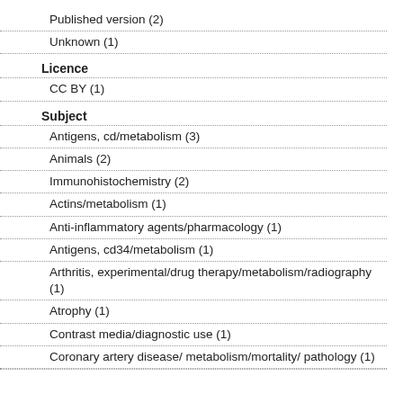Published version (2)
Unknown (1)
Licence
CC BY (1)
Subject
Antigens, cd/metabolism (3)
Animals (2)
Immunohistochemistry (2)
Actins/metabolism (1)
Anti-inflammatory agents/pharmacology (1)
Antigens, cd34/metabolism (1)
Arthritis, experimental/drug therapy/metabolism/radiography (1)
Atrophy (1)
Contrast media/diagnostic use (1)
Coronary artery disease/ metabolism/mortality/ pathology (1)